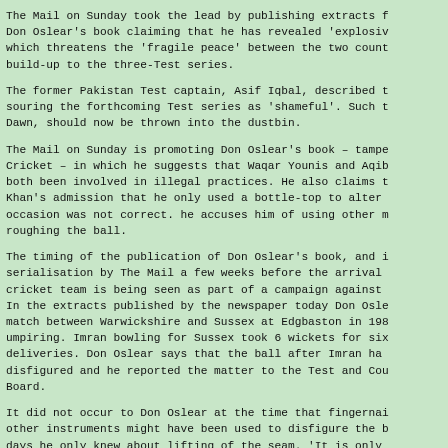The Mail on Sunday took the lead by publishing extracts from Don Oslear's book claiming that he has revealed 'explosive' which threatens the 'fragile peace' between the two countries build-up to the three-Test series.
The former Pakistan Test captain, Asif Iqbal, described the souring the forthcoming Test series as 'shameful'. Such things Dawn, should now be thrown into the dustbin.
The Mail on Sunday is promoting Don Oslear's book – tampe Cricket – in which he suggests that Waqar Younis and Aqib both been involved in illegal practices. He also claims that Khan's admission that he only used a bottle-top to alter the occasion was not correct. he accuses him of using other means roughing the ball.
The timing of the publication of Don Oslear's book, and its serialisation by The Mail a few weeks before the arrival of cricket team is being seen as part of a campaign against Pakis In the extracts published by the newspaper today Don Oslear match between Warwickshire and Sussex at Edgbaston in 1981 he umpiring. Imran bowling for Sussex took 6 wickets for six deliveries. Don Oslear says that the ball after Imran had disfigured and he reported the matter to the Test and County Board.
It did not occur to Don Oslear at the time that fingernails other instruments might have been used to disfigure the ball. days he only knew about lifting of the seam. 'It is only that I realised exactly what had been going on.' 'In my...